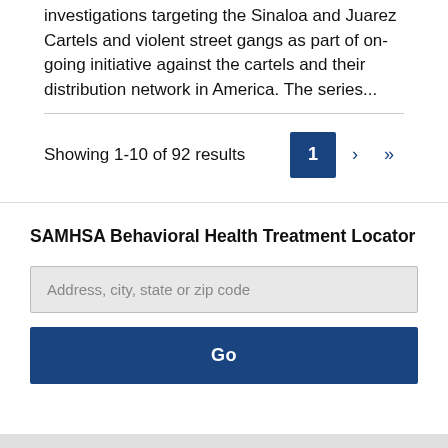investigations targeting the Sinaloa and Juarez Cartels and violent street gangs as part of on-going initiative against the cartels and their distribution network in America. The series...
Showing 1-10 of 92 results
SAMHSA Behavioral Health Treatment Locator
Address, city, state or zip code
Go